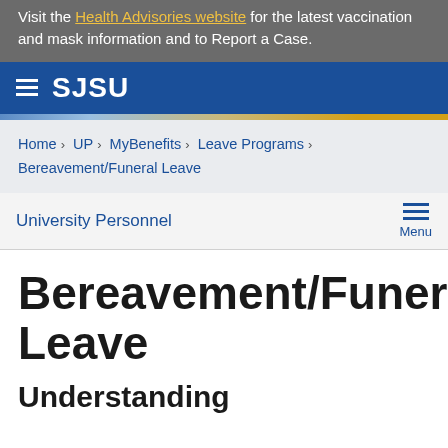Visit the Health Advisories website for the latest vaccination and mask information and to Report a Case.
SJSU
Home > UP > MyBenefits > Leave Programs > Bereavement/Funeral Leave
University Personnel
Bereavement/Funeral Leave
Understanding